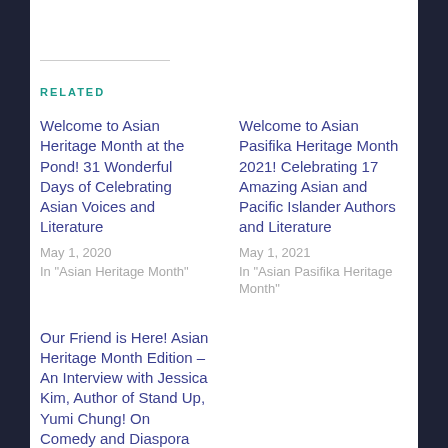RELATED
Welcome to Asian Heritage Month at the Pond! 31 Wonderful Days of Celebrating Asian Voices and Literature
May 1, 2020
In "Asian Heritage Month"
Welcome to Asian Pasifika Heritage Month 2021! Celebrating 17 Amazing Asian and Pacific Islander Authors and Literature
May 1, 2021
In "Asian Pasifika Heritage Month"
Our Friend is Here! Asian Heritage Month Edition – An Interview with Jessica Kim, Author of Stand Up, Yumi Chung! On Comedy and Diaspora Korean Identity
May 3, 2020